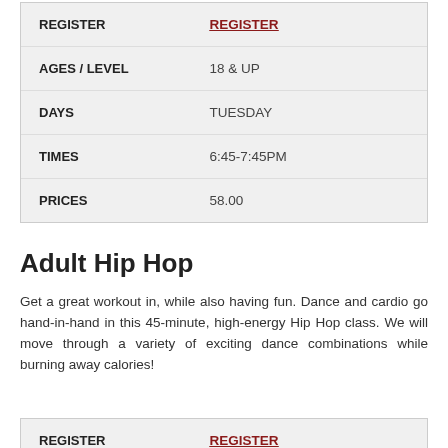| Field | Value |
| --- | --- |
| REGISTER | REGISTER |
| AGES / LEVEL | 18 & UP |
| DAYS | TUESDAY |
| TIMES | 6:45-7:45PM |
| PRICES | 58.00 |
Adult Hip Hop
Get a great workout in, while also having fun. Dance and cardio go hand-in-hand in this 45-minute, high-energy Hip Hop class. We will move through a variety of exciting dance combinations while burning away calories!
| Field | Value |
| --- | --- |
| REGISTER | REGISTER |